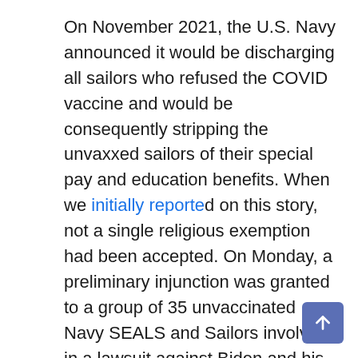On November 2021, the U.S. Navy announced it would be discharging all sailors who refused the COVID vaccine and would be consequently stripping the unvaxxed sailors of their special pay and education benefits. When we initially reported on this story, not a single religious exemption had been accepted. On Monday, a preliminary injunction was granted to a group of 35 unvaccinated Navy SEALS and Sailors involved in a lawsuit against Biden and his regime for denying their religious exemptions to the vaccine mandate.
This lawsuit was filed in November, under the complaint that the mandate denied them the “fundamental right to the free exercise of religion and protection from agency action that is unlawful, contrary to law, and arbitrary and capricious.”